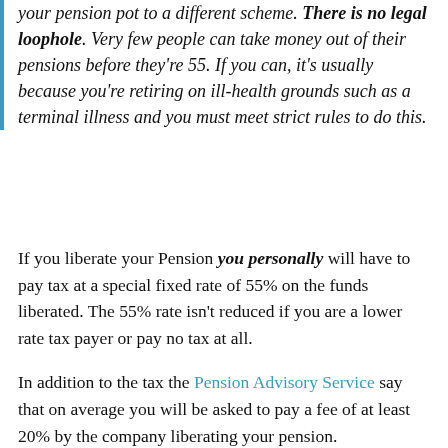your pension pot to a different scheme. There is no legal loophole. Very few people can take money out of their pensions before they're 55. If you can, it's usually because you're retiring on ill-health grounds such as a terminal illness and you must meet strict rules to do this.
If you liberate your Pension you personally will have to pay tax at a special fixed rate of 55% on the funds liberated. The 55% rate isn't reduced if you are a lower rate tax payer or pay no tax at all.
In addition to the tax the Pension Advisory Service say that on average you will be asked to pay a fee of at least 20% by the company liberating your pension.